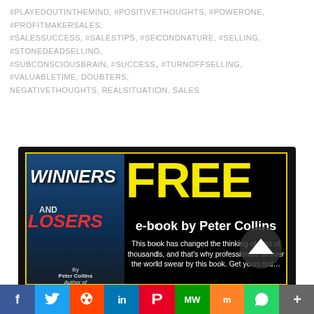#PLAYEDOUTINTHEMIND, #POSITIVETHOUGHTS, #POWERONE, #PROFITMAKERSALES, #SALESSUCCESS, #SALESTIPS, #SECONDNATURE, #SELLING, #STONEDEADSELLING, #SUBCONSCIOUSBRAIN, #SUCCESS, #TURNOFFSELLING, #VALUABLETIME, DOUBTERS, NEGATIVETHOUGHTS, REALSITUATION, SALES
[Figure (infographic): Book promotion ad for 'Winners and Losers' by Peter Collins. Black background with yellow border. Left side shows book cover with title in white/red italic text. Right side shows 'FREE' in large yellow text, 'e-book by Peter Collins' in white, and description text. Bottom shows 'DOWNLOAD IT HERE' in yellow on black. Social sharing bar at bottom with Facebook, Twitter, Reddit, LinkedIn, Pinterest, MeWe, Mix, WhatsApp, More buttons.]